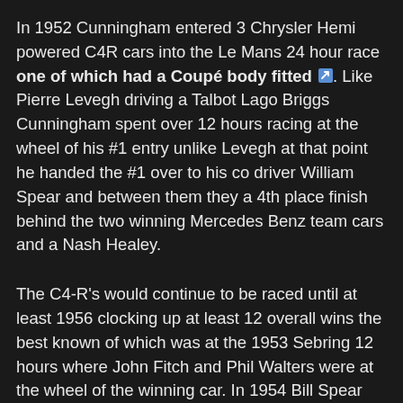In 1952 Cunningham entered 3 Chrysler Hemi powered C4R cars into the Le Mans 24 hour race one of which had a Coupé body fitted. Like Pierre Levegh driving a Talbot Lago Briggs Cunningham spent over 12 hours racing at the wheel of his #1 entry unlike Levegh at that point he handed the #1 over to his co driver William Spear and between them they a 4th place finish behind the two winning Mercedes Benz team cars and a Nash Healey.
The C4-R's would continue to be raced until at least 1956 clocking up at least 12 overall wins the best known of which was at the 1953 Sebring 12 hours where John Fitch and Phil Walters were at the wheel of the winning car. In 1954 Bill Spear and Sherwood Johnston finished 3rd to record the models best finish at Le Mans. Surprisingly Jaguar D-type designer Malcom Slayer observed that the C4-R chassis had "no effective diagonal bracing. It therefore twists so much that the door cannot work if one rear wheel is jacked up".